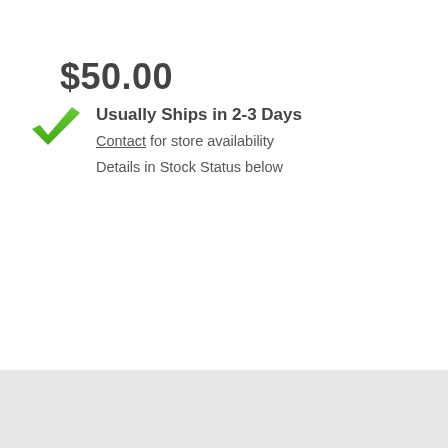$50.00
Usually Ships in 2-3 Days
Contact for store availability
Details in Stock Status below
[Figure (illustration): Green checkmark icon indicating availability]
qty 1 ADD TO CART